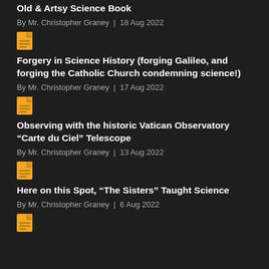Old & Artsy Science Book
By Mr. Christopher Graney | 18 Aug 2022
[Figure (illustration): Yellow document icon]
Forgery in Science History (forging Galileo, and forging the Catholic Church condemning science!)
By Mr. Christopher Graney | 17 Aug 2022
[Figure (illustration): Yellow document icon]
Observing with the historic Vatican Observatory “Carte du Ciel” Telescope
By Mr. Christopher Graney | 13 Aug 2022
[Figure (illustration): Yellow document icon]
Here on this Spot, “The Sisters” Taught Science
By Mr. Christopher Graney | 6 Aug 2022
[Figure (illustration): Yellow document icon]